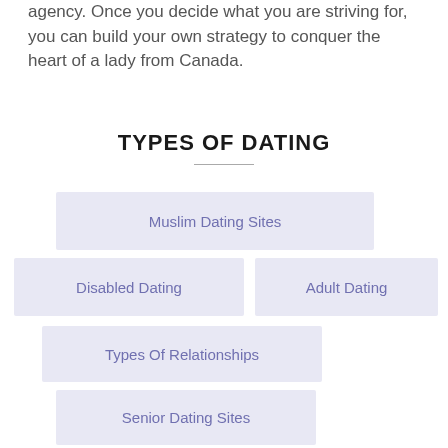agency. Once you decide what you are striving for, you can build your own strategy to conquer the heart of a lady from Canada.
TYPES OF DATING
Muslim Dating Sites
Disabled Dating
Adult Dating
Types Of Relationships
Senior Dating Sites
Black Hookup Apps